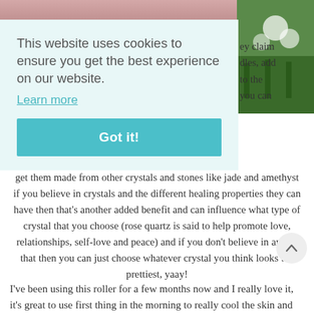[Figure (photo): Top strip showing partial photo of skin/crystals, with a green plant/flower photo on the right side]
This website uses cookies to ensure you get the best experience on our website.
Learn more
Got it!
ey claim
dles, add
to the
you can
get them made from other crystals and stones like jade and amethyst if you believe in crystals and the different healing properties they can have then that's another added benefit and can influence what type of crystal that you choose (rose quartz is said to help promote love, relationships, self-love and peace) and if you don't believe in any of that then you can just choose whatever crystal you think looks the prettiest, yaay!
I've been using this roller for a few months now and I really love it, it's great to use first thing in the morning to really cool the skin and